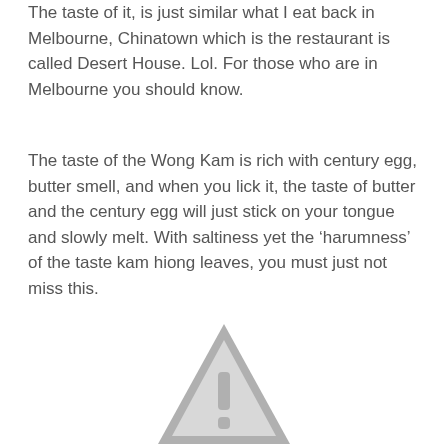The taste of it, is just similar what I eat back in Melbourne, Chinatown which is the restaurant is called Desert House. Lol. For those who are in Melbourne you should know.
The taste of the Wong Kam is rich with century egg, butter smell, and when you lick it, the taste of butter and the century egg will just stick on your tongue and slowly melt. With saltiness yet the ‘harumness’ of the taste kam hiong leaves, you must just not miss this.
[Figure (other): Warning/caution triangle icon with exclamation mark, grey colored, partially visible at bottom of page]